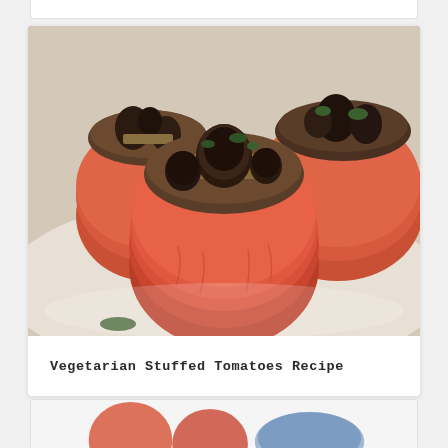[Figure (photo): Photograph of vegetarian stuffed tomatoes on a plate — roasted red tomatoes filled with a mixture of grains, sautéed mushrooms, and herbs.]
Vegetarian Stuffed Tomatoes Recipe
[Figure (photo): Partial bottom card showing the beginning of another food photo.]